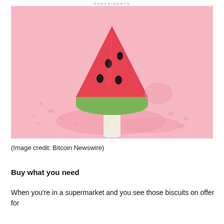SNACKIDENTS
[Figure (photo): A watermelon-shaped ice cream popsicle with black seed details and a green base, partially melted on a pink background.]
(Image credit: Bitcoin Newswire)
Buy what you need
When you're in a supermarket and you see those biscuits on offer for